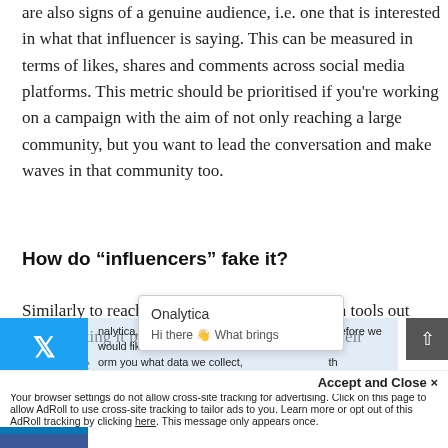are also signs of a genuine audience, i.e. one that is interested in what that influencer is saying. This can be measured in terms of likes, shares and comments across social media platforms. This metric should be prioritised if you're working on a campaign with the aim of not only reaching a large community, but you want to lead the conversation and make waves in that community too.
How do “influencers” fake it?
Similarly to reach, there are various automation tools out there making it possible for influencers to up their resonance
nalytica, we take your privacy very seriously. Therefore we would like to inform you what data we collect, with personal information. To learn Privacy Policy. If you have any questio
Onalytica
Hi there 👋 What brings
Accept and Close ×
Your browser settings do not allow cross-site tracking for advertising. Click on this page to allow AdRoll to use cross-site tracking to tailor ads to you. Learn more or opt out of this AdRoll tracking by clicking here. This message only appears once.